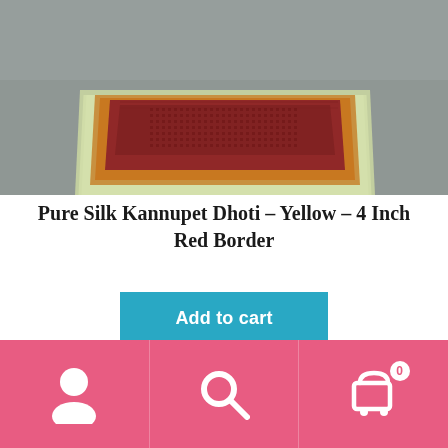[Figure (photo): Photo of stacked silk fabric pieces in shades of red, orange/yellow, and cream/green, arranged as folded dhotis on a gray fabric background]
Pure Silk Kannupet Dhoti – Yellow – 4 Inch Red Border
Add to cart
[Figure (photo): Partial view of another product image at bottom of page, partially obscured by footer navigation bar]
Navigation footer with user account icon, search icon, and shopping cart icon with badge showing 0